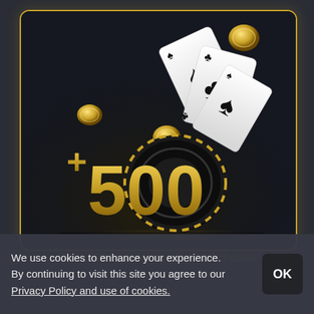[Figure (illustration): Casino promotional image showing large gold '+500' text, poker chips, playing cards (spades and clubs), and gold coins on a dark background, inside a rounded rectangle with gold border.]
Over 500+ games to play and choose
We use cookies to enhance your experience. By continuing to visit this site you agree to our Privacy Policy and use of cookies.